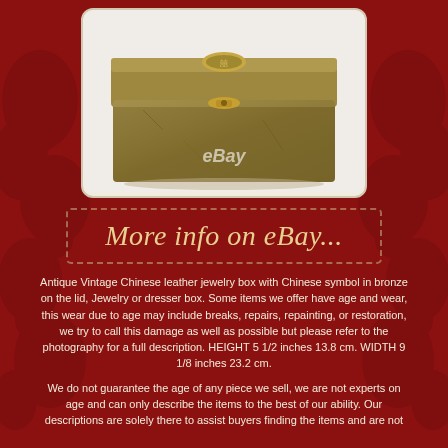[Figure (photo): Antique vintage Chinese leather jewelry box with Chinese symbol in bronze on the lid, shown on a white background with eBay watermark]
More info on eBay...
Antique Vintage Chinese leather jewelry box with Chinese symbol in bronze on the lid, Jewelry or dresser box. Some items we offer have age and wear, this wear due to age may include breaks, repairs, repainting, or restoration, we try to call this damage as well as possible but please refer to the photography for a full description. HEIGHT 5 1/2 inches 13.8 cm. WIDTH 9 1/8 inches 23.2 cm.
We do not guarantee the age of any piece we sell, we are not experts on age and can only describe the items to the best of our ability. Our descriptions are solely there to assist buyers finding the items and are not